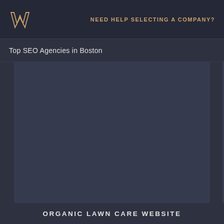NEED HELP SELECTING A COMPANY?
Top SEO Agencies in Boston
[Figure (screenshot): Dark background content area, appears to be a placeholder or loading section of a webpage listing SEO agencies]
ORGANIC LAWN CARE WEBSITE